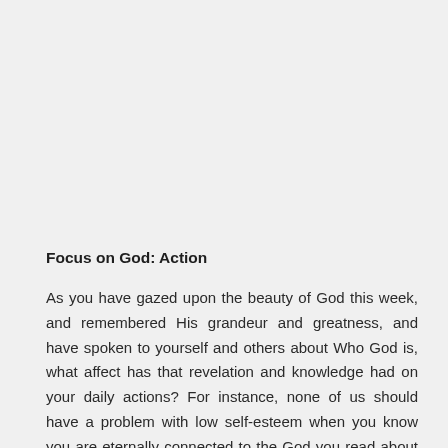Focus on God:  Action
As you have gazed upon the beauty of God this week, and remembered His grandeur and greatness, and have spoken to yourself and others about Who God is, what affect has that revelation and knowledge had on your daily actions?  For instance, none of us should have a problem with low self-esteem when you know you are eternally connected to the God you read about in Isaiah 40 and Psalm 103!!!  You need not live in fear when you